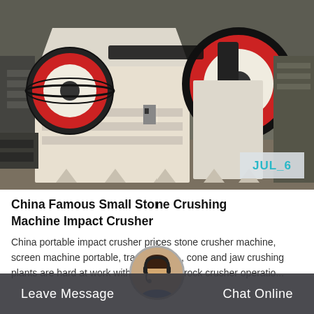[Figure (photo): Industrial jaw crusher machines in a factory/warehouse setting. Two large cream/white colored jaw crushers with red and black flywheels visible. The machines are on a concrete floor with industrial structure in background.]
JUL_6
China Famous Small Stone Crushing Machine Impact Crusher
China portable impact crusher prices stone crusher machine. screen machine portable, trackmount..., cone and jaw crushing plants are hard at work with all types of rock crusher operatio...
Leave Message   Chat Online